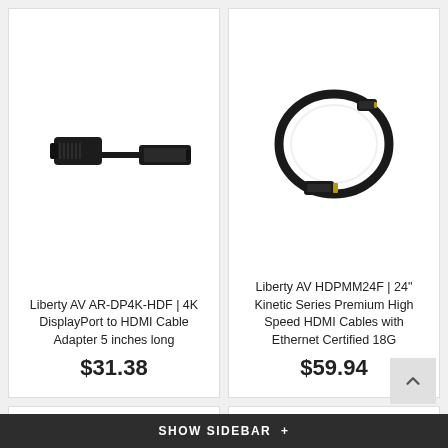[Figure (photo): Liberty AV AR-DP4K-HDF DisplayPort to HDMI adapter, small black dongle with short cable]
Liberty AV AR-DP4K-HDF | 4K DisplayPort to HDMI Cable Adapter 5 inches long
$31.38
[Figure (photo): Liberty AV HDPMM24F 24 inch HDMI cable coiled in a circle, black with gold connectors]
Liberty AV HDPMM24F | 24" Kinetic Series Premium High Speed HDMI Cables with Ethernet Certified 18G
$59.94
[Figure (photo): Grey cable with small black connector component, partial view of a cable product]
[Figure (photo): Partial view of a cable product, right side card cut off]
SHOW SIDEBAR +